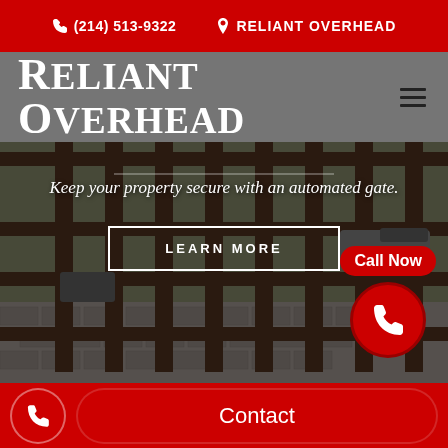(214) 513-9322  RELIANT OVERHEAD
RELIANT OVERHEAD
[Figure (photo): Dark metal automated security gate with vertical and horizontal bars, photographed outdoors with brick paving visible in background]
Keep your property secure with an automated gate.
LEARN MORE
Call Now
Contact